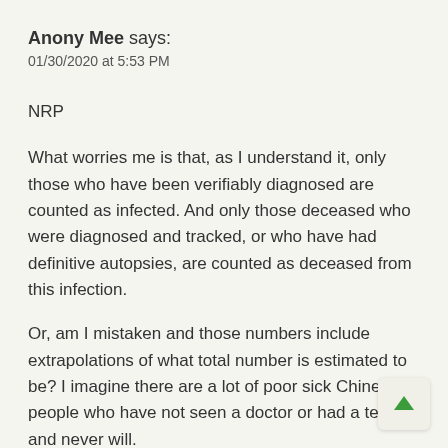Anony Mee says:
01/30/2020 at 5:53 PM
NRP
What worries me is that, as I understand it, only those who have been verifiably diagnosed are counted as infected. And only those deceased who were diagnosed and tracked, or who have had definitive autopsies, are counted as deceased from this infection.
Or, am I mistaken and those numbers include extrapolations of what total number is estimated to be? I imagine there are a lot of poor sick Chinese people who have not seen a doctor or had a test, and never will.